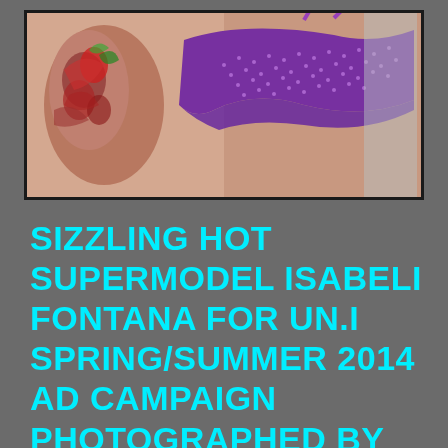[Figure (photo): Partial photo of a model wearing a purple sequined bikini top, with a tattoo visible on the arm. The image is cropped showing the torso and arm area against a light background. The photo is framed with a dark border.]
SIZZLING HOT SUPERMODEL ISABELI FONTANA FOR UN.I SPRING/SUMMER 2014 AD CAMPAIGN PHOTOGRAPHED BY ZEE NUNES